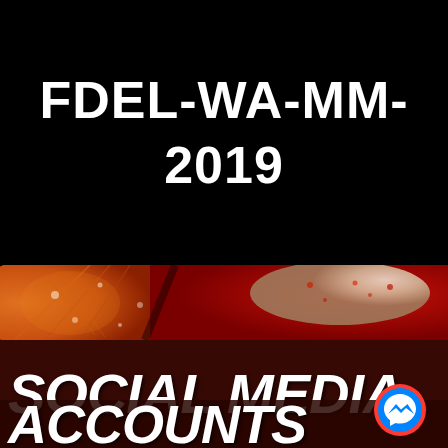FDEL-WA-MM-2019
[Figure (photo): Close-up photo of food — sliced citrus (orange/grapefruit) and what appears to be crab or seafood with red/orange coloring and water droplets]
SOCIAL MEDIA ACCOUNTS